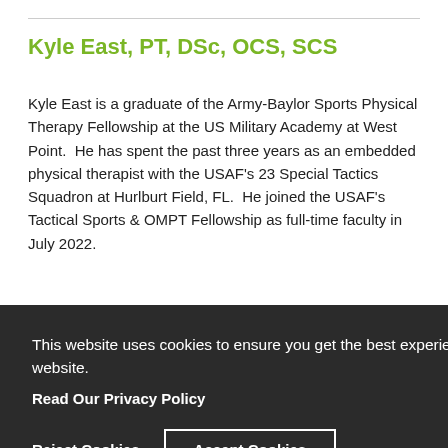Kyle East, PT, DSc, OCS, SCS
Kyle East is a graduate of the Army-Baylor Sports Physical Therapy Fellowship at the US Military Academy at West Point.  He has spent the past three years as an embedded physical therapist with the USAF's 23 Special Tactics Squadron at Hurlburt Field, FL.  He joined the USAF's Tactical Sports & OMPT Fellowship as full-time faculty in July 2022.
This website uses cookies to ensure you get the best experience on our website.
Read Our Privacy Policy
Reject Cookies    Accept Cookies
...private ...aska. ...an Orthopedic Certification Specialist (OCS) and has also